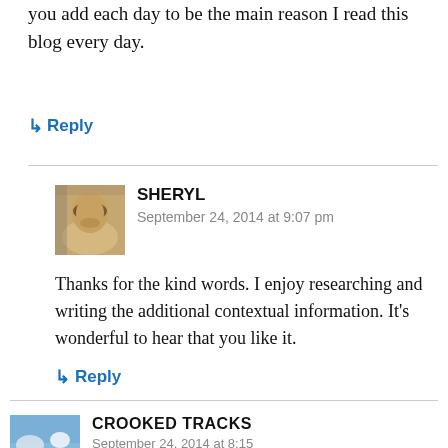you add each day to be the main reason I read this blog every day.
↳ Reply
SHERYL
September 24, 2014 at 9:07 pm
Thanks for the kind words. I enjoy researching and writing the additional contextual information. It's wonderful to hear that you like it.
↳ Reply
CROOKED TRACKS
September 24, 2014 at 8:15